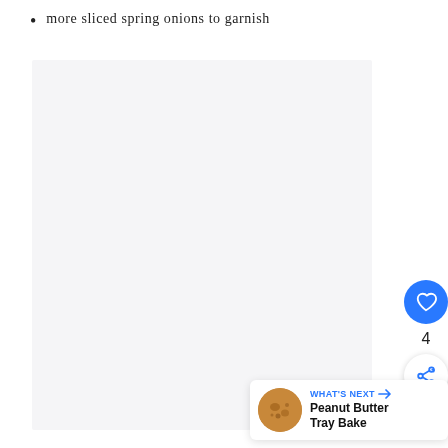more sliced spring onions to garnish
[Figure (photo): Large light-colored image placeholder area, appears nearly blank/white-gray, likely a food photo that did not load]
4
WHAT'S NEXT → Peanut Butter Tray Bake